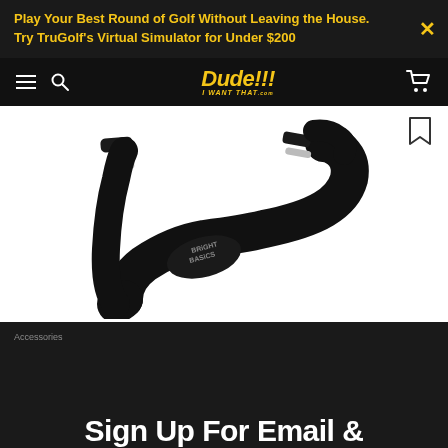Play Your Best Round of Golf Without Leaving the House. Try TruGolf's Virtual Simulator for Under $200
Dude!!! I WANT THAT .com
[Figure (photo): A Bright Basics brand flexible neck light / LED book light with two lamp heads and silver collar rings, shown against a white background. The device is black and U-shaped with the brand name visible on the base.]
Accessories
Sign Up For Email &